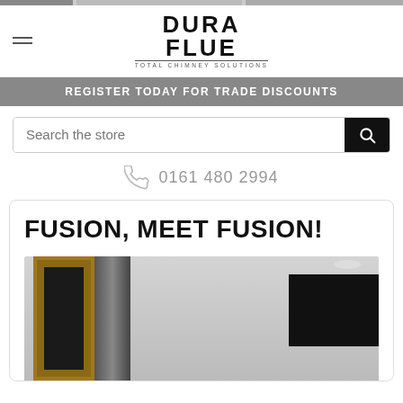[Figure (logo): Dura Flue - Total Chimney Solutions logo]
REGISTER TODAY FOR TRADE DISCOUNTS
Search the store
0161 480 2994
FUSION, MEET FUSION!
[Figure (photo): Interior room photo showing a door, decorative stone chimney column, and wall-mounted TV]